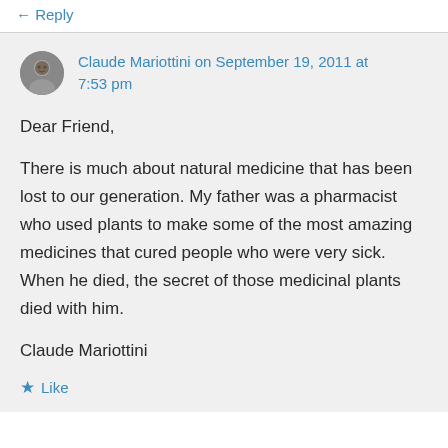← Reply
Claude Mariottini on September 19, 2011 at 7:53 pm
Dear Friend,

There is much about natural medicine that has been lost to our generation. My father was a pharmacist who used plants to make some of the most amazing medicines that cured people who were very sick. When he died, the secret of those medicinal plants died with him.

Claude Mariottini
Like